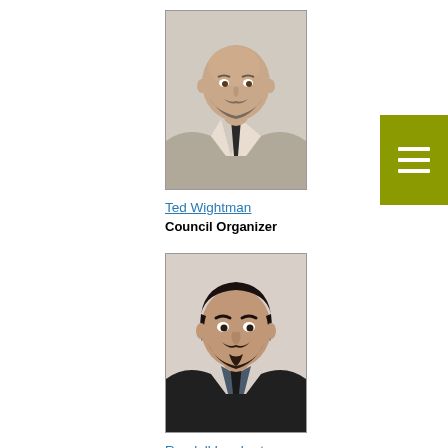[Figure (photo): Headshot photo of Ted Wightman, a bald man with a beard wearing a suit and dark tie]
Ted Wightman
Council Organizer
[Figure (photo): Headshot photo of Randall Lambert, a man with dark hair and a beard wearing a dark suit]
Randall Lambert